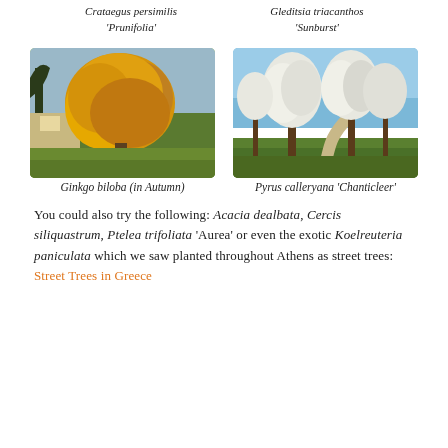Crataegus persimilis 'Prunifolia'
Gleditsia triacanthos 'Sunburst'
[Figure (photo): Photo of Ginkgo biloba tree in autumn with golden-yellow foliage against sky and lawn background]
[Figure (photo): Photo of Pyrus calleryana 'Chanticleer' trees with white blossoms along a path in spring]
Ginkgo biloba (in Autumn)
Pyrus calleryana 'Chanticleer'
You could also try the following: Acacia dealbata, Cercis siliquastrum, Ptelea trifoliata ‘Aurea’ or even the exotic Koelreuteria paniculata which we saw planted throughout Athens as street trees: Street Trees in Greece